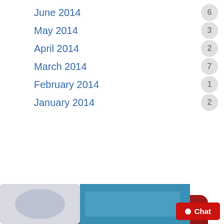June 2014  6
May 2014  3
April 2014  2
March 2014  7
February 2014  1
January 2014  2
[Figure (infographic): Red rounded rectangle badge reading EMERGENCY SERVICE 24 HOURS A DAY 7 DAYS A WEEK in white bold text]
[Figure (screenshot): Partially visible blurred banner at the bottom of the page, appears to be a BBB or similar accreditation badge with teal/blue background]
Chat